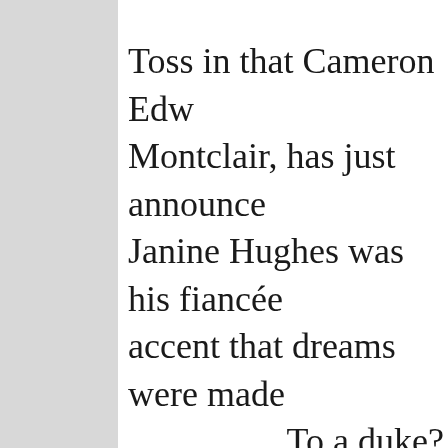Toss in that Cameron Edw Montclair, has just announce Janine Hughes was his fiancée accent that dreams were made To a duke?
Janine didn't know if she shou Your G